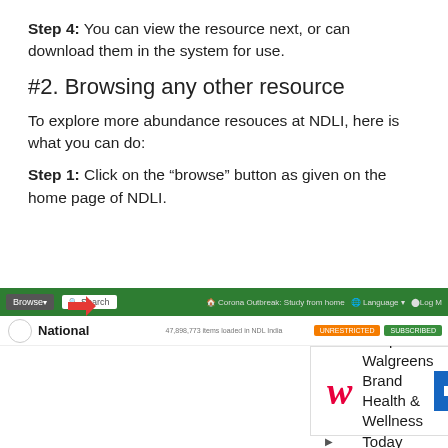Step 4: You can view the resource next, or can download them in the system for use.
#2. Browsing any other resource
To explore more abundance resouces at NDLI, here is what you can do:
Step 1: Click on the “browse” button as given on the home page of NDLI.
[Figure (screenshot): Screenshot of NDLI website home page showing the navigation bar with Browse and Search buttons, and the National Digital Library of India logo. An advertisement popup for Walgreens Brand Health & Wellness Today is visible with a red arrow overlay.]